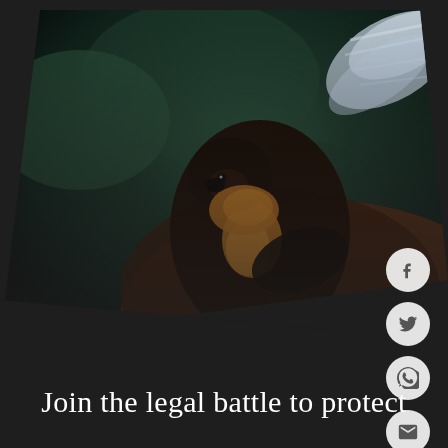[Figure (photo): Close-up photograph of a small lemur (dark brown/black with orange-gold markings on chest/face) clinging to what appears to be a large curved surface or another animal. Background is dark green/teal bokeh. Upper right corner shows white/blue feathers or wings blurred. Photo is set into a diamond/rhombus-shaped crop against a dark charcoal background.]
Join the legal battle to protect